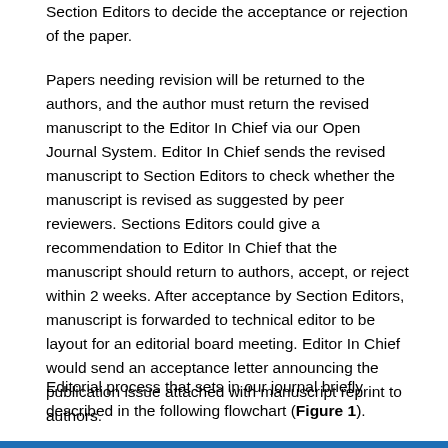Section Editors to decide the acceptance or rejection of the paper.
Papers needing revision will be returned to the authors, and the author must return the revised manuscript to the Editor In Chief via our Open Journal System. Editor In Chief sends the revised manuscript to Section Editors to check whether the manuscript is revised as suggested by peer reviewers. Sections Editors could give a recommendation to Editor In Chief that the manuscript should return to authors, accept, or reject within 2 weeks. After acceptance by Section Editors, manuscript is forwarded to technical editor to be layout for an editorial board meeting. Editor In Chief would send an acceptance letter announcing the publication issue attached with manuscript reprint to authors.
Editorial process that sets in our journal briefly described in the following flowchart (Figure 1).